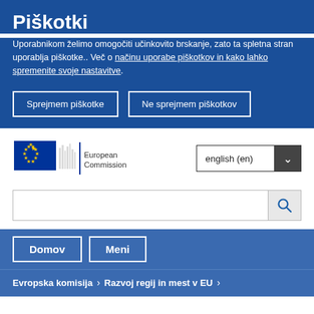Piškotki
Uporabnikom želimo omogočiti učinkovito brskanje, zato ta spletna stran uporablja piškotke.. Več o načinu uporabe piškotkov in kako lahko spremenite svoje nastavitve.
Sprejmem piškotke
Ne sprejmem piškotkov
[Figure (logo): European Commission logo with EU flag stars and text 'European Commission']
english (en)
Domov
Meni
Evropska komisija > Razvoj regij in mest v EU >